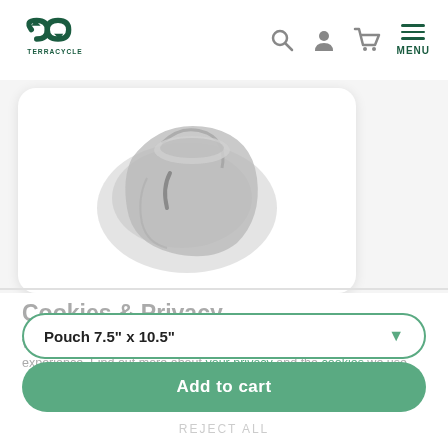TerraCycle – Header with logo, search, account, cart, and menu icons
[Figure (photo): Product image: a plastic pouch/bag shown against white background inside a rounded white card]
Cookies & Privacy
We use cookies and other similar technologies to improve your website experience. Find out more about your privacy and the cookies we use.
Pouch 7.5" x 10.5" (dropdown selector)
- 1 +
MANAGE COOKIES ∨
Add to cart
REJECT ALL